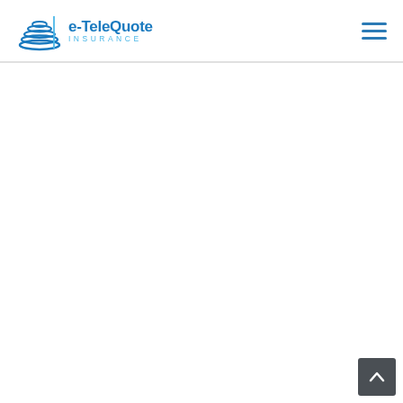e-TeleQuote Insurance - navigation header with logo and hamburger menu
[Figure (logo): e-TeleQuote Insurance logo with stacked blue wave/disc icon on the left and company name on the right. Top line reads 'e-TeleQuote' in blue bold text, bottom line reads 'INSURANCE' in light blue spaced capitals.]
[Figure (other): Hamburger menu icon (three horizontal blue lines) in top right corner]
[Figure (other): Dark gray back-to-top button with white chevron/arrow pointing up, positioned in bottom right corner]